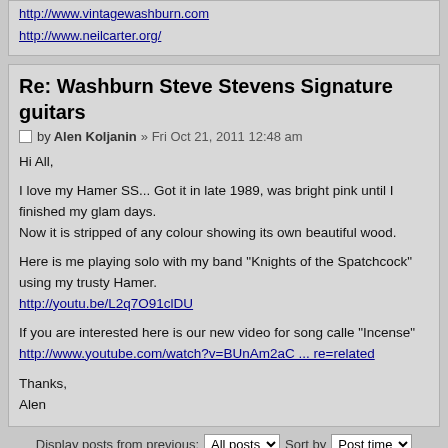http://www.vintagewashburn.com
http://www.neilcarter.org/
Re: Washburn Steve Stevens Signature guitars
Post by Alen Koljanin » Fri Oct 21, 2011 12:48 am
Hi All,

I love my Hamer SS... Got it in late 1989, was bright pink until I finished my glam days.
Now it is stripped of any colour showing its own beautiful wood.

Here is me playing solo with my band "Knights of the Spatchcock" using my trusty Hamer.
http://youtu.be/L2q7O91clDU

If you are interested here is our new video for song calle "Incense"
http://www.youtube.com/watch?v=BUnAm2aC ... re=related

Thanks,
Alen